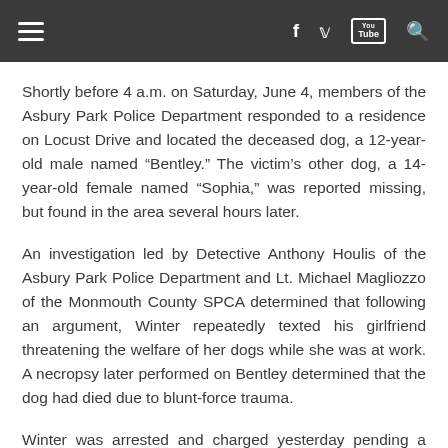Navigation bar with hamburger menu, Facebook, Twitter, YouTube, and Search icons
Shortly before 4 a.m. on Saturday, June 4, members of the Asbury Park Police Department responded to a residence on Locust Drive and located the deceased dog, a 12-year-old male named “Bentley.” The victim’s other dog, a 14-year-old female named “Sophia,” was reported missing, but found in the area several hours later.
An investigation led by Detective Anthony Houlis of the Asbury Park Police Department and Lt. Michael Magliozzo of the Monmouth County SPCA determined that following an argument, Winter repeatedly texted his girlfriend threatening the welfare of her dogs while she was at work. A necropsy later performed on Bentley determined that the dog had died due to blunt-force trauma.
Winter was arrested and charged yesterday pending a detention hearing to take place in Monmouth County Superior Court. If convicted on the more serious charge against him, he would face up to five years in state prison.